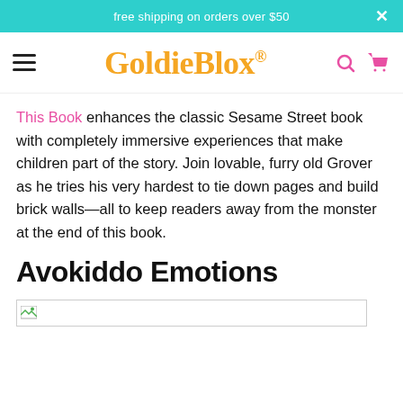free shipping on orders over $50
[Figure (logo): GoldieBlox logo in orange cursive script with registered trademark symbol, hamburger menu icon on left, search and cart icons on right in pink]
This Book enhances the classic Sesame Street book with completely immersive experiences that make children part of the story. Join lovable, furry old Grover as he tries his very hardest to tie down pages and build brick walls—all to keep readers away from the monster at the end of this book.
Avokiddo Emotions
[Figure (photo): Broken/missing product image placeholder with small image icon in top left corner]